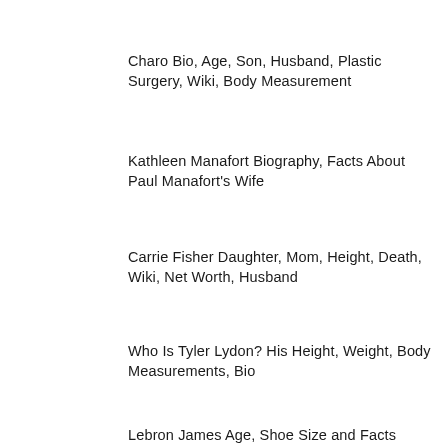Charo Bio, Age, Son, Husband, Plastic Surgery, Wiki, Body Measurement
Kathleen Manafort Biography, Facts About Paul Manafort's Wife
Carrie Fisher Daughter, Mom, Height, Death, Wiki, Net Worth, Husband
Who Is Tyler Lydon? His Height, Weight, Body Measurements, Bio
Lebron James Age, Shoe Size and Facts